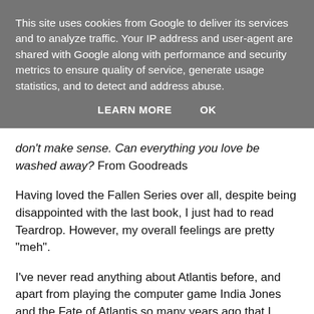This site uses cookies from Google to deliver its services and to analyze traffic. Your IP address and user-agent are shared with Google along with performance and security metrics to ensure quality of service, generate usage statistics, and to detect and address abuse.
LEARN MORE   OK
don't make sense. Can everything you love be washed away? From Goodreads
Having loved the Fallen Series over all, despite being disappointed with the last book, I just had to read Teardrop. However, my overall feelings are pretty "meh".
I've never read anything about Atlantis before, and apart from playing the computer game India Jones and the Fate of Atlantis so many years ago that I don't remember much about it, I know nothing about the legend. So I was coming to Teardrop blind, with no expectations. What the book did is whet my appetite for the actual legend, which I'll probably look up at some point, but otherwise, it's a lot like Fallen. By